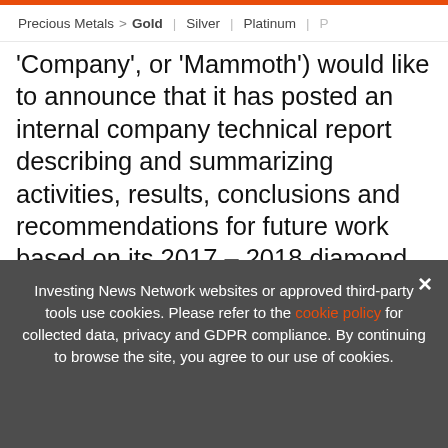Precious Metals > Gold | Silver | Platinum |
'Company', or 'Mammoth') would like to announce that it has posted an internal company technical report describing and summarizing activities, results, conclusions and recommendations for future work based on its 2017 – 2018 diamond drill program in which it drilled 13 holes for a total of 2,700 metres at its Tenoriba precious metal prop... prec... Chihuahua State, Mexico
[Figure (screenshot): Advertisement banner: EXCLUSIVE 2022 SILVER OUTLOOK REPORT. TRENDS. FORECASTS. TOP STOCKS. with orange arrow button and red divider.]
Investing News Network websites or approved third-party tools use cookies. Please refer to the cookie policy for collected data, privacy and GDPR compliance. By continuing to browse the site, you agree to our use of cookies.